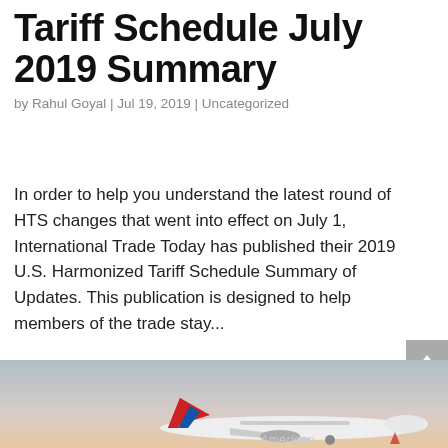Tariff Schedule July 2019 Summary
by Rahul Goyal | Jul 19, 2019 | Uncategorized
In order to help you understand the latest round of HTS changes that went into effect on July 1, International Trade Today has published their 2019 U.S. Harmonized Tariff Schedule Summary of Updates. This publication is designed to help members of the trade stay...
[Figure (photo): Photo of an American Airlines airplane in flight against a sunset sky. A dark navy blue circular mail/envelope button overlay is in the lower-left area.]